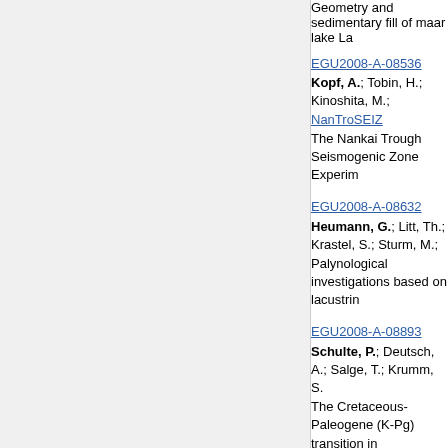Geometry and sedimentary fill of maar lake La…
EGU2008-A-08536
Kopf, A.; Tobin, H.; Kinoshita, M.; NanTroSEIZ…
The Nankai Trough Seismogenic Zone Experim…
EGU2008-A-08632
Heumann, G.; Litt, Th.; Krastel, S.; Sturm, M.;
Palynological investigations based on lacustrin…
EGU2008-A-08893
Schulte, P.; Deutsch, A.; Salge, T.; Krumm, S.…
The Cretaceous-Paleogene (K-Pg) transition in…
first Paleocene hyperthermal events
EGU2008-A-08977
Zolitschka, B.; Anselmetti, F.S.; Ariztegui, D.;…
Schäbitz, F.; Wille, M.
Hydrological variations and their climate forcing…
"PASADO" (Laguna Potrok Aike, Argentina)
EGU2008-A-10276
Ghergut, I.; Behrens, H.; Sauter, M.; Licha, T.…
Five-year experience with deep-crustal fluid sp…
EGU2008-A-10937
Jurado, M.J.; Martin, K.M.; Saito, S.; Tudge, J…
NanTroSEIZE LWD IODP Expedition 314: inter…
measurements.